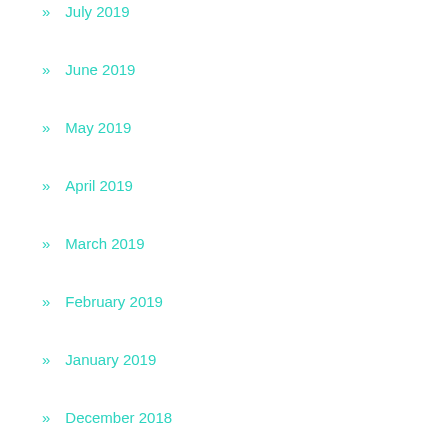» July 2019
» June 2019
» May 2019
» April 2019
» March 2019
» February 2019
» January 2019
» December 2018
» November 2018
» October 2018
» September 2018
» August 2018
» July 2018
» November 2017
» October 2017
» August 2017